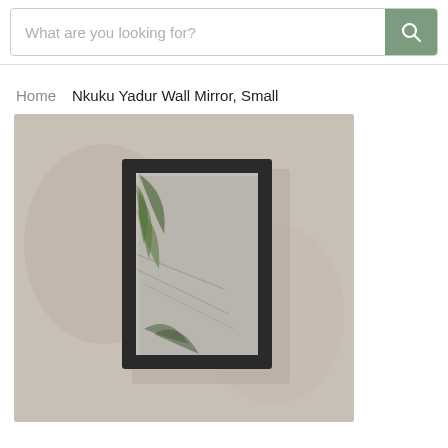What are you looking for?
Home  Nkuku Yadur Wall Mirror, Small
[Figure (photo): A rectangular wall mirror with a dark charcoal/black frame, hung on a warm beige/taupe plaster wall. Reflections of plant leaves visible in the mirror.]